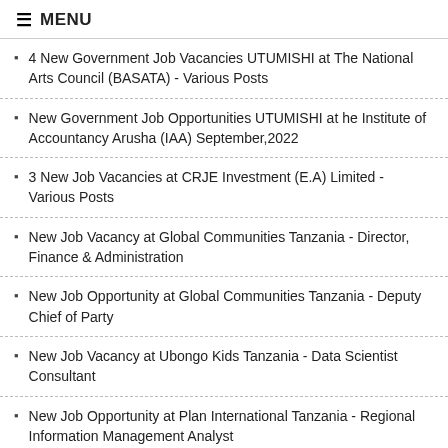MENU
4 New Government Job Vacancies UTUMISHI at The National Arts Council (BASATA) - Various Posts
New Government Job Opportunities UTUMISHI at he Institute of Accountancy Arusha (IAA) September,2022
3 New Job Vacancies at CRJE Investment (E.A) Limited - Various Posts
New Job Vacancy at Global Communities Tanzania - Director, Finance & Administration
New Job Opportunity at Global Communities Tanzania - Deputy Chief of Party
New Job Vacancy at Ubongo Kids Tanzania - Data Scientist Consultant
New Job Opportunity at Plan International Tanzania - Regional Information Management Analyst
New Job Opportunity at Ubongo Kids Tanzania - Education
INSTALL APP YETU ⇒ BONYEZA HAPA